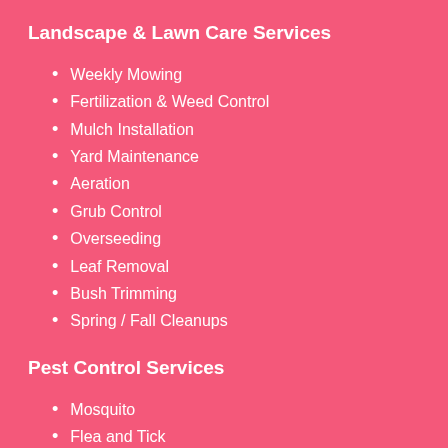Landscape & Lawn Care Services
Weekly Mowing
Fertilization & Weed Control
Mulch Installation
Yard Maintenance
Aeration
Grub Control
Overseeding
Leaf Removal
Bush Trimming
Spring / Fall Cleanups
Pest Control Services
Mosquito
Flea and Tick
Home Barrier Pest Control
Johnson County Service Area